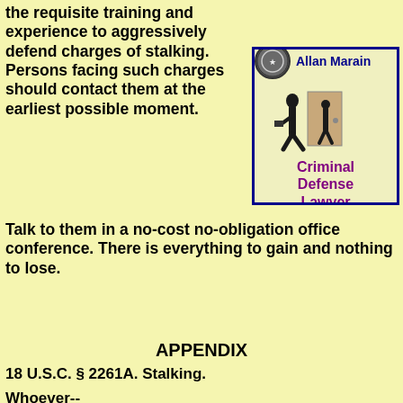the requisite training and experience to aggressively defend charges of stalking. Persons facing such charges should contact them at the earliest possible moment. Talk to them in a no-cost no-obligation office conference. There is everything to gain and nothing to lose.
[Figure (illustration): Advertisement box with blue border for Allan Marain Criminal Defense Lawyer, showing a badge icon and silhouette figure]
APPENDIX
18 U.S.C. § 2261A. Stalking.
Whoever--
(1) travels in interstate or foreign commerce or within the special maritime and territorial jurisdiction of the United States, or enters or leaves